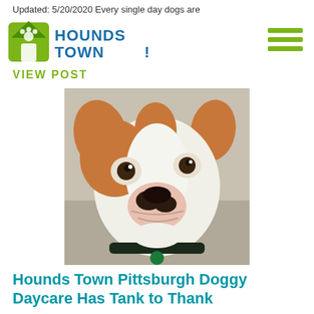Updated: 5/20/2020 Every single day dogs are
[Figure (logo): Hounds Town logo with house/paw icon and stylized text 'HOUNDS TOWN']
VIEW POST
[Figure (photo): Close-up photo of a brown and white Boxer puppy with a black collar and green tag, tilting its head, sitting on a couch]
Hounds Town Pittsburgh Doggy Daycare Has Tank to Thank